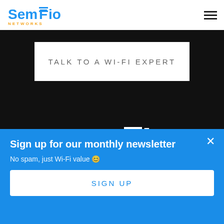[Figure (logo): SemFio Networks logo with blue text and gold NETWORKS subtext]
TALK TO A WI-FI EXPERT
[Figure (logo): Large SemFio white logo on dark background]
[Figure (illustration): Social media icons row (Twitter, LinkedIn, Instagram, YouTube, and another icon)]
Sign up for our monthly newsletter
No spam, just Wi-Fi value 😊
SIGN UP